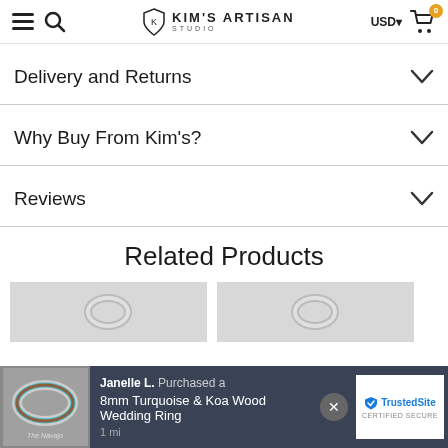Kim's Artisan Studio — USD — Cart (0)
Delivery and Returns
Why Buy From Kim's?
Reviews
Related Products
[Figure (photo): Two product thumbnail images of rings on grey background]
Janelle L. Purchased a 8mm Turquoise & Koa Wood Wedding Ring  1 m
[Figure (logo): TrustedSite CERTIFIED SECURE badge]